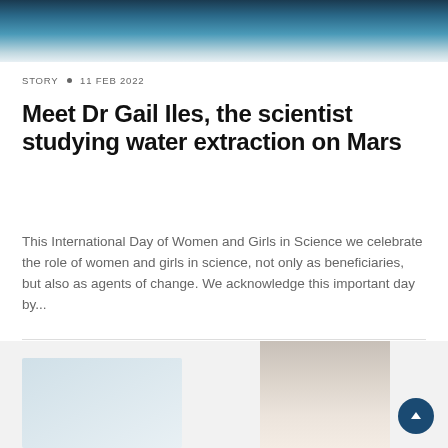[Figure (photo): Partial view of a woman wearing a teal/turquoise top and dark jacket with a patterned scarf, cropped at the top of the page]
STORY • 11 FEB 2022
Meet Dr Gail Iles, the scientist studying water extraction on Mars
This International Day of Women and Girls in Science we celebrate the role of women and girls in science, not only as beneficiaries, but also as agents of change. We acknowledge this important day by...
[Figure (photo): Partial view of a woman's face and upper body at the bottom of the page, with a light/outdoor background]